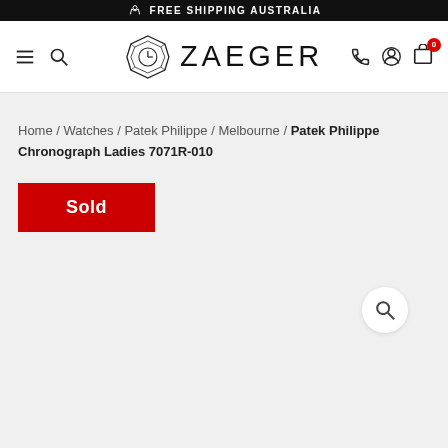FREE SHIPPING AUSTRALIA
[Figure (logo): Zaeger watches logo with geometric diamond-hexagon icon and ZAEGER wordmark]
Home / Watches / Patek Philippe / Melbourne / Patek Philippe Chronograph Ladies 7071R-010
Sold